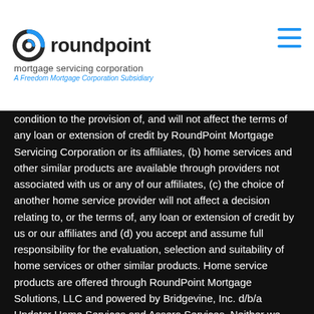roundpoint mortgage servicing corporation — A Freedom Mortgage Corporation Subsidiary
condition to the provision of, and will not affect the terms of any loan or extension of credit by RoundPoint Mortgage Servicing Corporation or its affiliates, (b) home services and other similar products are available through providers not associated with us or any of our affiliates, (c) the choice of another home service provider will not affect a decision relating to, or the terms of, any loan or extension of credit by us or our affiliates and (d) you accept and assume full responsibility for the evaluation, selection and suitability of home services or other similar products. Home service products are offered through RoundPoint Mortgage Solutions, LLC and powered by Bridgevine, Inc. d/b/a Updater Home Services and Assero Services. Neither we, nor any of our U.S. affiliates underwrite any home service product. Home service products may not be available in all states. We may be compensated in connection with these